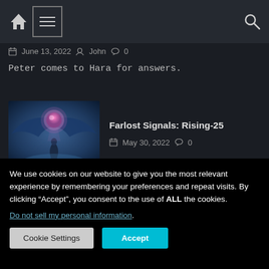Home | Menu | Search
June 13, 2022  John  0
Peter comes to Hara for answers.
Farlost Signals: Rising-25
May 30, 2022  0
[Figure (illustration): Sci-fi illustration showing a humanoid figure standing beneath a large glowing pink/purple orb with wings or fabric spreading above, in a blue atmospheric setting]
We use cookies on our website to give you the most relevant experience by remembering your preferences and repeat visits. By clicking “Accept”, you consent to the use of ALL the cookies.
Do not sell my personal information.
Cookie Settings  Accept